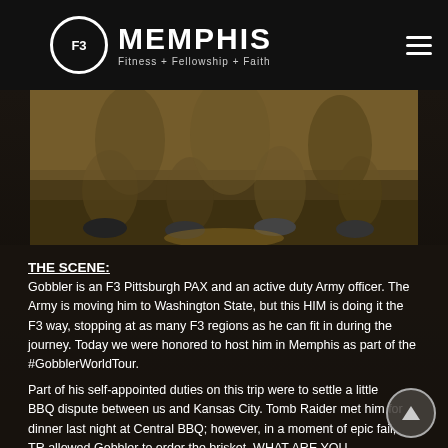F3 Memphis – Fitness + Fellowship + Faith
[Figure (photo): Close-up photo of people exercising outdoors, showing legs and feet on ground with exercise equipment visible]
THE SCENE:
Gobbler is an F3 Pittsburgh PAX and an active duty Army officer.  The Army is moving him to Washington State, but this HIM is doing it the F3 way, stopping at as many F3 regions as he can fit in during the journey.  Today we were honored to host him in Memphis as part of the #GobblerWorldTour.
Part of his self-appointed duties on this trip were to settle a little BBQ dispute between us and Kansas City.  Tomb Raider met him for dinner last night at Central BBQ; however, in a moment of epic fail, TR allowed Gobbler to order the brisket.  WHAT ARE YOU